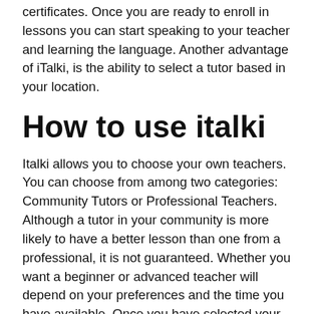certificates. Once you are ready to enroll in lessons you can start speaking to your teacher and learning the language. Another advantage of iTalki, is the ability to select a tutor based in your location.
How to use italki
Italki allows you to choose your own teachers. You can choose from among two categories: Community Tutors or Professional Teachers. Although a tutor in your community is more likely to have a better lesson than one from a professional, it is not guaranteed. Whether you want a beginner or advanced teacher will depend on your preferences and the time you have available. Once you have selected your teacher, it is